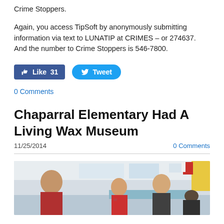Crime Stoppers.
Again, you access TipSoft by anonymously submitting information via text to LUNATIP at CRIMES – or 274637.  And the number to Crime Stoppers is 546-7800.
[Figure (other): Facebook Like button showing 31 likes and Twitter Tweet button]
0 Comments
Chaparral Elementary Had A Living Wax Museum
11/25/2014
0 Comments
[Figure (photo): Photo of adults and children in a classroom setting, appearing to be at a living wax museum event at Chaparral Elementary]